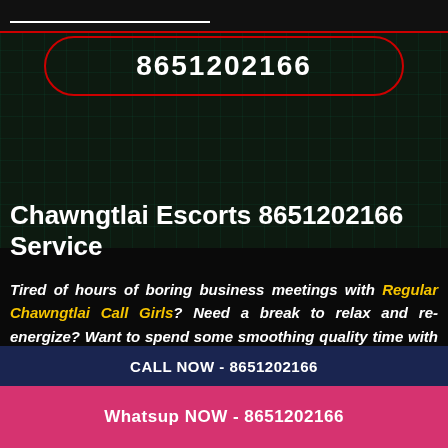8651202166
Chawngtlai Escorts 8651202166 Service
Tired of hours of boring business meetings with Regular Chawngtlai Call Girls? Need a break to relax and re-energize? Want to spend some smoothing quality time with a beautiful and sexy Chawngtlai Independent Escort ? If yes, then you have reached the right destination finally. We are one of the best agencies offering the best services for independent
CALL NOW - 8651202166
Whatsup NOW - 8651202166